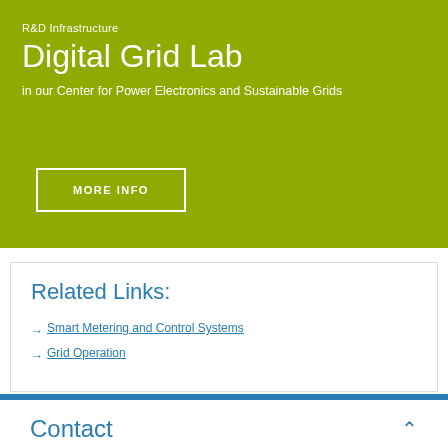R&D Infrastructure
Digital Grid Lab
in our Center for Power Electronics and Sustainable Grids
MORE INFO
Related Links:
→ Smart Metering and Control Systems
→ Grid Operation
Contact